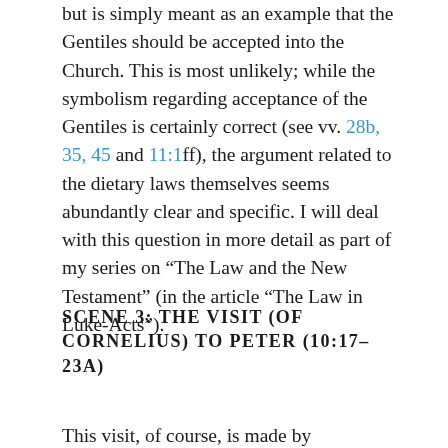but is simply meant as an example that the Gentiles should be accepted into the Church. This is most unlikely; while the symbolism regarding acceptance of the Gentiles is certainly correct (see vv. 28b, 35, 45 and 11:1ff), the argument related to the dietary laws themselves seems abundantly clear and specific. I will deal with this question in more detail as part of my series on “The Law and the New Testament” (in the article “The Law in Luke-Acts”).
SCENE 3: THE VISIT (OF CORNELIUS) TO PETER (10:17–23A)
This visit, of course, is made by Cornelius’